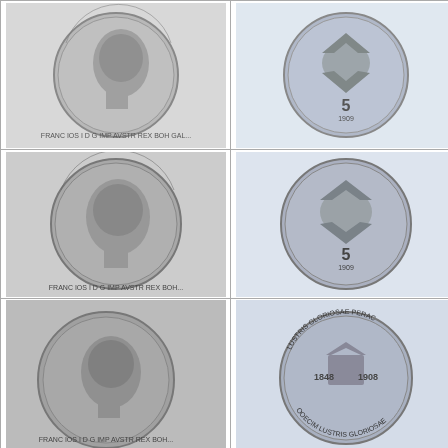[Figure (photo): Obverse of Austria 5 corona 1909 coin showing portrait of Franz Joseph I facing right]
[Figure (photo): Reverse of Austria 5 corona 1909 coin showing double-headed eagle with value 5]
Austria, 5 corona 1909. I.
[Figure (photo): Obverse of Austria 5 corona 1909 coin showing portrait of Franz Joseph I facing right (second example)]
[Figure (photo): Reverse of Austria 5 corona 1909 coin showing double-headed eagle with value 5 (second example)]
Austria, 5 corona 1909. I.
[Figure (photo): Obverse of Austria 1 corona 1908 coin showing portrait of Franz Joseph I facing right]
[Figure (photo): Reverse of Austria 1 corona 1908 commemorative coin showing 1848-1908 60th Anniversary design]
Austria, 1 corona 1908. I - 60th Anniversary of R